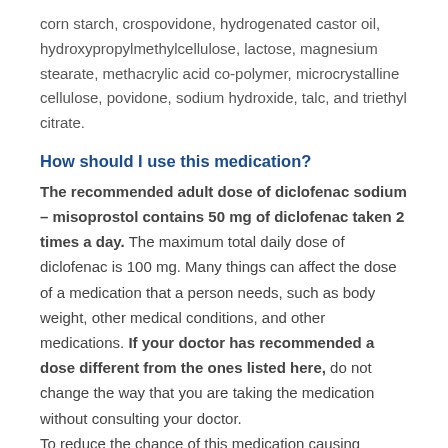corn starch, crospovidone, hydrogenated castor oil, hydroxypropylmethylcellulose, lactose, magnesium stearate, methacrylic acid co-polymer, microcrystalline cellulose, povidone, sodium hydroxide, talc, and triethyl citrate.
How should I use this medication?
The recommended adult dose of diclofenac sodium – misoprostol contains 50 mg of diclofenac taken 2 times a day. The maximum total daily dose of diclofenac is 100 mg. Many things can affect the dose of a medication that a person needs, such as body weight, other medical conditions, and other medications. If your doctor has recommended a dose different from the ones listed here, do not change the way that you are taking the medication without consulting your doctor.
To reduce the chance of this medication causing stomach upset, take diclofenac sodium – misoprostol immediately after a meal or with food or milk. Swallow the tablets whole. Do not